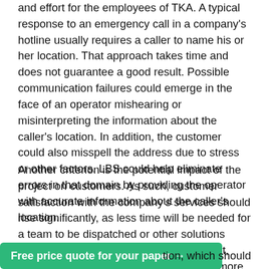and effort for the employees of TKA. A typical response to an emergency call in a company's hotline usually requires a caller to name his or her location. That approach takes time and does not guarantee a good result. Possible communication failures could emerge in the face of an operator mishearing or misinterpreting the information about the caller's location. In addition, the customer could also misspell the address due to stress or other factors. LBS could help eliminate errors in that domain by providing the operator with accurate information about the caller's location.
Another criterion is the potential impact of the project on customers. As such, customer satisfaction with the company's services should rise significantly, as less time will be needed for a team to be dispatched or other solutions initiated to resolve their issues. Above that, emergency calls will now be shorter and more productive
tion, which should
[Figure (other): Green banner button with text 'Free price quote for your paper →']